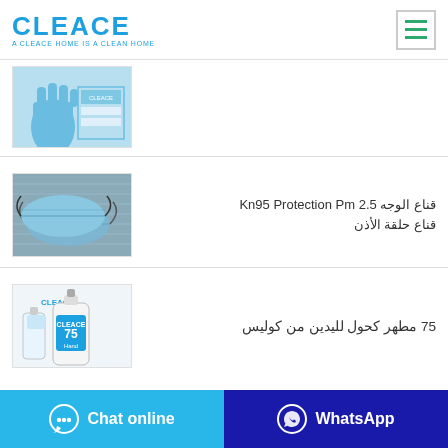[Figure (logo): CLEACE logo in blue with tagline A CLEACE HOME IS A CLEAN HOME]
[Figure (photo): Blue nitrile disposable gloves product photo with box]
[Figure (photo): KN95 blue face masks protection product photo]
قناع الوجه Kn95 Protection Pm 2.5 قناع حلقة الأذن
[Figure (photo): Cleace 75 hand sanitizer alcohol bottle product photo]
75 مطهر كحول لليدين من كوليس
Chat online
WhatsApp